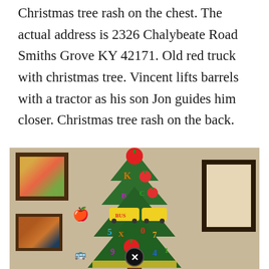Christmas tree rash on the chest. The actual address is 2326 Chalybeate Road Smiths Grove KY 42171. Old red truck with christmas tree. Vincent lifts barrels with a tractor as his son Jon guides him closer. Christmas tree rash on the back.
[Figure (photo): A decorated Christmas tree with colorful letters, numbers, apple ornaments, and school bus decorations. Framed pictures hang on the beige/tan wall on the left and right sides of the tree. A small apple cutout and small school bus cutout are visible on the left wall area. A circular close/X button appears at the bottom center of the image.]